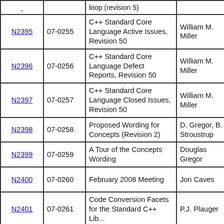| Doc# | Doc# | Title | Author | Date |
| --- | --- | --- | --- | --- |
| N2395 | 07-0255 | C++ Standard Core Language Active Issues, Revision 50 | William M. Miller | 2007-09-09 |
| N2396 | 07-0256 | C++ Standard Core Language Defect Reports, Revision 50 | William M. Miller | 2007-09-09 |
| N2397 | 07-0257 | C++ Standard Core Language Closed Issues, Revision 50 | William M. Miller | 2007-09-09 |
| N2398 | 07-0258 | Proposed Wording for Concepts (Revision 2) | D. Gregor, B. Stroustrup | 2007-09-10 |
| N2399 | 07-0259 | A Tour of the Concepts Wording | Douglas Gregor | 2007-09-09 |
| N2400 | 07-0260 | February 2008 Meeting | Jon Caves | 2007-08-31 |
| N2401 | 07-0261 | Code Conversion Facets for the Standard C++ ... | P.J. Plauger | 2007-09-03 |